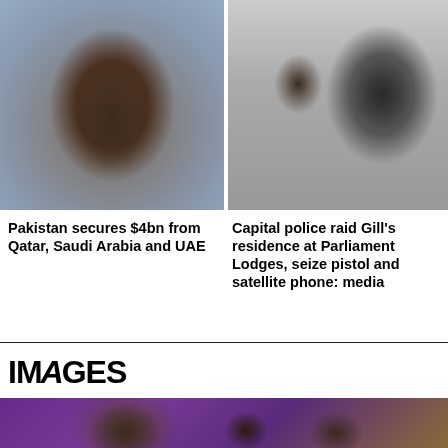[Figure (photo): Man with beard wearing a vest and tie, gesturing with his hand, possibly speaking on a news show]
[Figure (photo): Two men standing, one in black shirt, one in white shalwar kameez, appearing to be in custody or official setting]
Pakistan secures $4bn from Qatar, Saudi Arabia and UAE
Capital police raid Gill's residence at Parliament Lodges, seize pistol and satellite phone: media
IMAGES
[Figure (photo): TV show set with a man in glasses and other people seated in a colorful studio with purple and orange decor]